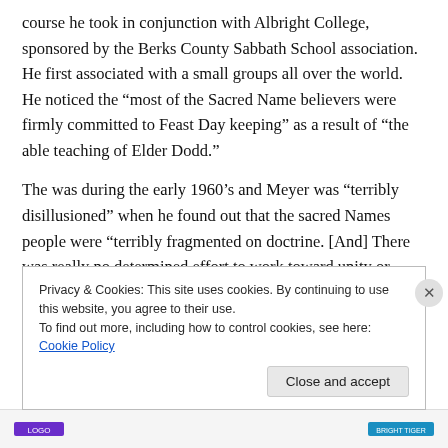course he took in conjunction with Albright College, sponsored by the Berks County Sabbath School association. He first associated with a small groups all over the world. He noticed the “most of the Sacred Name believers were firmly committed to Feast Day keeping” as a result of “the able teaching of Elder Dodd.”
The was during the early 1960’s and Meyer was “terribly disillusioned” when he found out that the sacred Names people were “terribly fragmented on doctrine. [And] There was really no determined effort to work toward unity or
Privacy & Cookies: This site uses cookies. By continuing to use this website, you agree to their use.
To find out more, including how to control cookies, see here: Cookie Policy